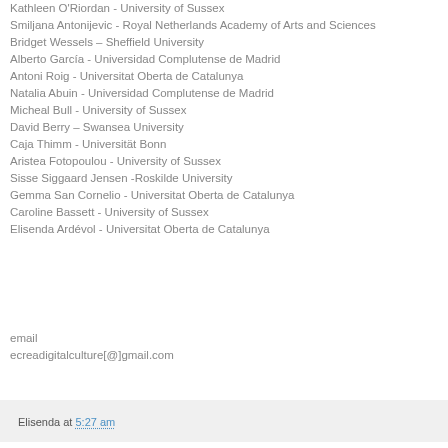Kathleen O'Riordan - University of Sussex
Smiljana Antonijevic - Royal Netherlands Academy of Arts and Sciences
Bridget Wessels – Sheffield University
Alberto García - Universidad Complutense de Madrid
Antoni Roig - Universitat Oberta de Catalunya
Natalia Abuin - Universidad Complutense de Madrid
Micheal Bull - University of Sussex
David Berry – Swansea University
Caja Thimm - Universität Bonn
Aristea Fotopoulou - University of Sussex
Sisse Siggaard Jensen -Roskilde University
Gemma San Cornelio - Universitat Oberta de Catalunya
Caroline Bassett - University of Sussex
Elisenda Ardévol - Universitat Oberta de Catalunya
email
ecreadigitalculture[@]gmail.com
Elisenda at 5:27 am